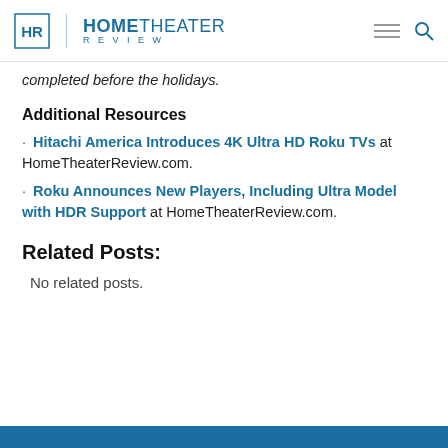HOME THEATER REVIEW
completed before the holidays.
Additional Resources
· Hitachi America Introduces 4K Ultra HD Roku TVs at HomeTheaterReview.com.
· Roku Announces New Players, Including Ultra Model with HDR Support at HomeTheaterReview.com.
Related Posts:
No related posts.